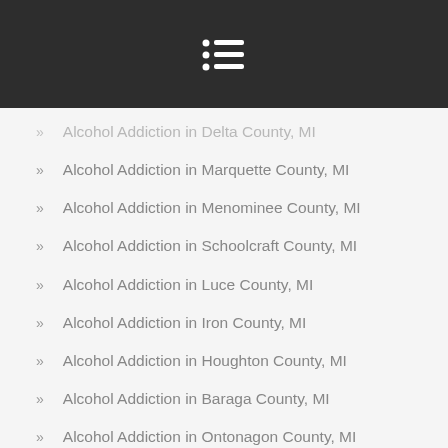Menu icon / navigation header
Alcohol Addiction in Delta County, MI
Alcohol Addiction in Marquette County, MI
Alcohol Addiction in Menominee County, MI
Alcohol Addiction in Schoolcraft County, MI
Alcohol Addiction in Luce County, MI
Alcohol Addiction in Iron County, MI
Alcohol Addiction in Houghton County, MI
Alcohol Addiction in Baraga County, MI
Alcohol Addiction in Ontonagon County, MI
Alcohol Addiction in Gogebic County, MI